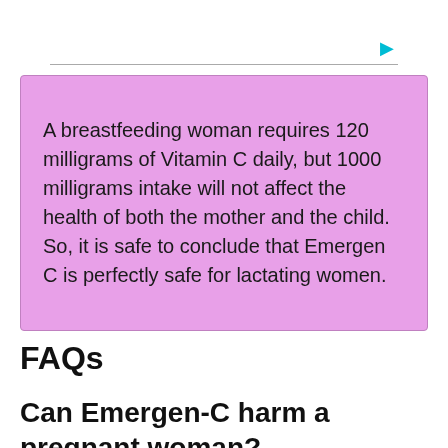A breastfeeding woman requires 120 milligrams of Vitamin C daily, but 1000 milligrams intake will not affect the health of both the mother and the child. So, it is safe to conclude that Emergen C is perfectly safe for lactating women.
FAQs
Can Emergen-C harm a pregnant woman?
Popping Vitamin-C gummies and chewable can be an appealing alternative to get some Vitamin C intake and find it hard to swallow a pill.